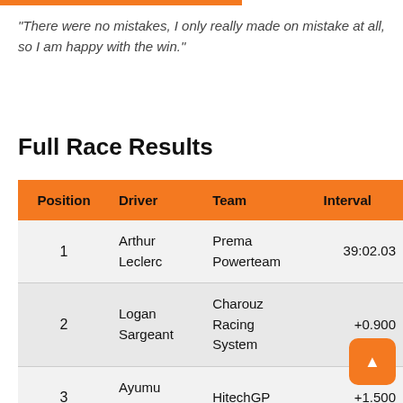"There were no mistakes, I only really made on mistake at all, so I am happy with the win."
Full Race Results
| Position | Driver | Team | Interval |
| --- | --- | --- | --- |
| 1 | Arthur Leclerc | Prema Powerteam | 39:02.03 |
| 2 | Logan Sargeant | Charouz Racing System | +0.900 |
| 3 | Ayumu Iwasa | HitechGP | +1.500 |